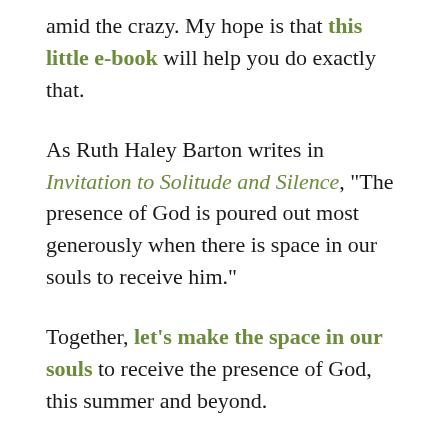amid the crazy. My hope is that this little e-book will help you do exactly that.
As Ruth Haley Barton writes in Invitation to Solitude and Silence, “The presence of God is poured out most generously when there is space in our souls to receive him.”
Together, let’s make the space in our souls to receive the presence of God, this summer and beyond.
::
Friends, if you already subscribe to my blog